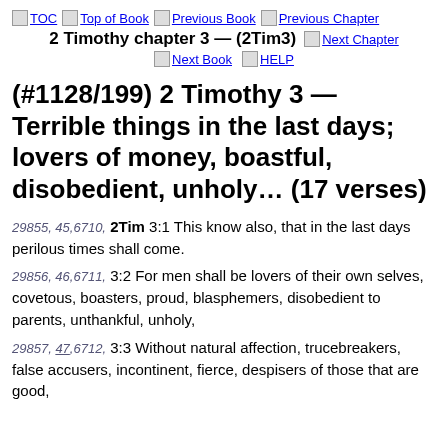TOC  Top of Book  Previous Book  Previous Chapter
2 Timothy chapter 3 — (2Tim3)  Next Chapter
Next Book  HELP
(#1128/199) 2 Timothy 3 — Terrible things in the last days; lovers of money, boastful, disobedient, unholy… (17 verses)
29855, 45,6710, 2Tim 3:1 This know also, that in the last days perilous times shall come.
29856, 46,6711, 3:2 For men shall be lovers of their own selves, covetous, boasters, proud, blasphemers, disobedient to parents, unthankful, unholy,
29857, 47,6712, 3:3 Without natural affection, trucebreakers, false accusers, incontinent, fierce, despisers of those that are good,